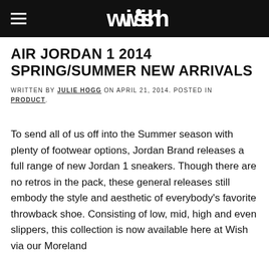wish
AIR JORDAN 1 2014 SPRING/SUMMER NEW ARRIVALS
WRITTEN BY JULIE HOGG ON APRIL 21, 2014. POSTED IN PRODUCT.
To send all of us off into the Summer season with plenty of footwear options, Jordan Brand releases a full range of new Jordan 1 sneakers. Though there are no retros in the pack, these general releases still embody the style and aesthetic of everybody's favorite throwback shoe. Consisting of low, mid, high and even slippers, this collection is now available here at Wish via our Moreland